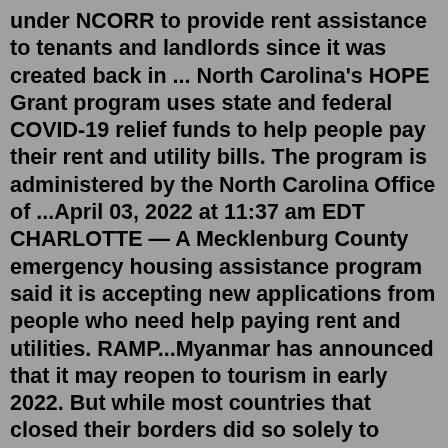under NCORR to provide rent assistance to tenants and landlords since it was created back in ... North Carolina's HOPE Grant program uses state and federal COVID-19 relief funds to help people pay their rent and utility bills. The program is administered by the North Carolina Office of ...April 03, 2022 at 11:37 am EDT CHARLOTTE — A Mecklenburg County emergency housing assistance program said it is accepting new applications from people who need help paying rent and utilities. RAMP...Myanmar has announced that it may reopen to tourism in early 2022. But while most countries that closed their borders did so solely to prevent the spread of Covid-19, the country is also still ...An award-winning theater company has teamed up with a charter school in Clarkston to launch a unique theater and arts summer program for refugee students. Atlanta-based Out Front Theatre Company, described as Georgia's only LGBTQIA+ theater company, is working with The Georgia Fugees Academy Charter School (GFACS) to bring...